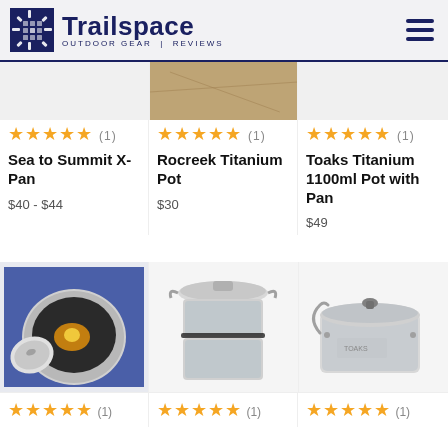Trailspace OUTDOOR GEAR REVIEWS
★★★★★ (1) — Sea to Summit X-Pan — $40 - $44
★★★★★ (1) — Rocreek Titanium Pot — $30
★★★★★ (1) — Toaks Titanium 1100ml Pot with Pan — $49
[Figure (photo): Photo of a pot with lid open showing cooked food inside]
[Figure (photo): Photo of a stacking stainless steel pot and pan set]
[Figure (photo): Photo of a silver titanium pot with handle and lid]
★★★★★ (1)
★★★★★ (1)
★★★★★ (1)